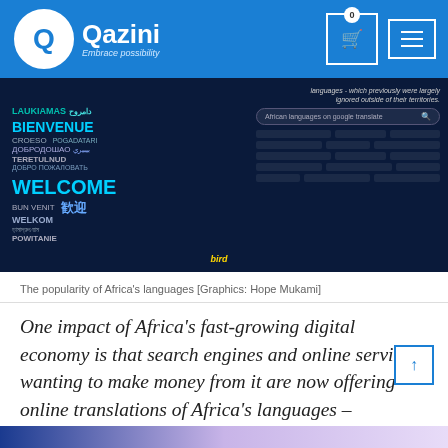Qazini — Embrace possibility
[Figure (photo): Composite image showing multilingual welcome words (LAUKIAMAS, BIENVENUE, WELCOME, etc.) on a dark background alongside a screenshot of African languages on Google Translate search interface. Graphics by Hope Mukami.]
The popularity of Africa's languages [Graphics: Hope Mukami]
One impact of Africa's fast-growing digital economy is that search engines and online services wanting to make money from it are now offering online translations of Africa's languages – previously largely ignored outside of their territories. Here are some of the over 2,000